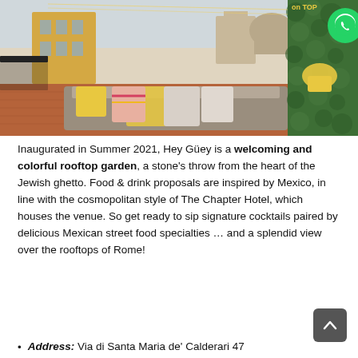[Figure (photo): Rooftop terrace of Hey Güey bar/restaurant in Rome with colorful cushioned seating, a green hedge wall with yellow basket chairs on the right, string lights overhead, and a view of Roman rooftops in the background. A WhatsApp icon button appears in the top right corner.]
Inaugurated in Summer 2021, Hey Güey is a welcoming and colorful rooftop garden, a stone's throw from the heart of the Jewish ghetto. Food & drink proposals are inspired by Mexico, in line with the cosmopolitan style of The Chapter Hotel, which houses the venue. So get ready to sip signature cocktails paired by delicious Mexican street food specialties … and a splendid view over the rooftops of Rome!
Address: Via di Santa Maria de' Calderari 47